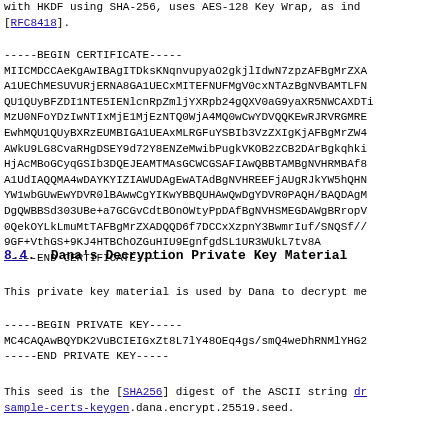with HKDF using SHA-256, uses AES-128 Key Wrap, as ind [RFC8418].
-----BEGIN CERTIFICATE-----
MIICMDCCAeKgAwIBAgITDksKNqnvupyaO2gkjlIdwN7zpzAFBgMrZXA
A1UEChMESUVURjERNA8GA1UECxMITEFNUFMgV0cxNTAzBgNVBAMTLFN
QU1QUyBFZDI1NTE5IENlcnRpZmljYXRpb24gQXV0aG9yaXR5NWCAXDTi
MzU0NFoYDzIwNTIxMjE1MjEzNTQ0WjA4MQ0wCwYDVQQKEwRJRVRGMRE
EwhMQU1QUyBXRzEUMBIGA1UEAxMLRGFuYSBIb3VzZXIgKjAFBgMrZW4
AWkU9LG8CvaRHgDSEY9d72Y8ENZeMwibPugkVKOB2zCB2DArBgkqhki
HjAcMBoGCyqGSIb3DQEJEAMTMAsGCWCGSAFIAwQBBTAMBgNVHRMBAf8
A1UdIAQQMA4wDAYKYIZIAWUDAgEwATAdBgNVHREEFjAUgRJkYW5hQHN
YW1wbGUwEwYDVR0lBAwwCgYIKwYBBQUHAwQwDgYDVR0PAQH/BAQDAgM
DgQWBBSd303UBe+a7GCGvCdtBOnOWtyPpDAfBgNVHSMEGDAWgBRropV
0QekOYLkLmuMtTAFBgMrZXADQQD6f7DCCxXzpnY3BwmrIuf/SNQSf//
9GF+VthGS+9KJ4HTBChOZGuHIU9EgnfgdSL1UR3WUkL7tv8A
-----END CERTIFICATE-----
8.4.  Dana's Decryption Private Key Material
This private key material is used by Dana to decrypt me
-----BEGIN PRIVATE KEY-----
MC4CAQAwBQYDK2VuBCIEIGxZt8L7lY48OEq4gs/smQ4weDhRNMlYHG2
-----END PRIVATE KEY-----
This seed is the [SHA256] digest of the ASCII string dr sample-certs-keygen.dana.encrypt.25519.seed.